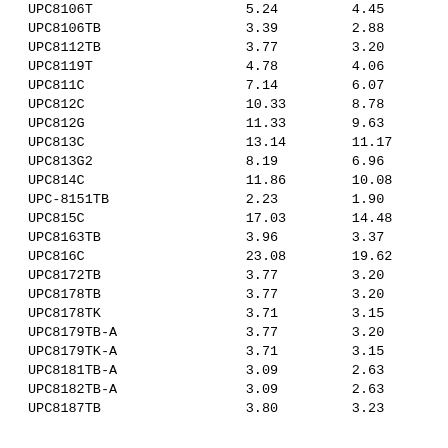| UPC8106T | 5.24 | 4.45 |
| UPC8106TB | 3.39 | 2.88 |
| UPC8112TB | 3.77 | 3.20 |
| UPC8119T | 4.78 | 4.06 |
| UPC811C | 7.14 | 6.07 |
| UPC812C | 10.33 | 8.78 |
| UPC812G | 11.33 | 9.63 |
| UPC813C | 13.14 | 11.17 |
| UPC813G2 | 8.19 | 6.96 |
| UPC814C | 11.86 | 10.08 |
| UPC-8151TB | 2.23 | 1.90 |
| UPC815C | 17.03 | 14.48 |
| UPC8163TB | 3.96 | 3.37 |
| UPC816C | 23.08 | 19.62 |
| UPC8172TB | 3.77 | 3.20 |
| UPC8178TB | 3.77 | 3.20 |
| UPC8178TK | 3.71 | 3.15 |
| UPC8179TB-A | 3.77 | 3.20 |
| UPC8179TK-A | 3.71 | 3.15 |
| UPC8181TB-A | 3.09 | 2.63 |
| UPC8182TB-A | 3.09 | 2.63 |
| UPC8187TB | 3.80 | 3.23 |